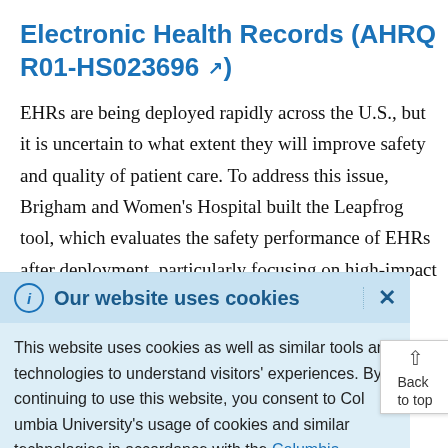Electronic Health Records (AHRQ R01-HS023696 ↗)
EHRs are being deployed rapidly across the U.S., but it is uncertain to what extent they will improve safety and quality of patient care. To address this issue, Brigham and Women's Hospital built the Leapfrog tool, which evaluates the safety performance of EHRs after deployment, particularly focusing on high-impact
Our website uses cookies
This website uses cookies as well as similar tools and technologies to understand visitors' experiences. By continuing to use this website, you consent to Columbia University's usage of cookies and similar technologies in accordance with the Columbia University Website Cookie Notice.